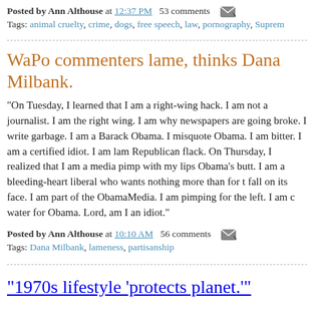Posted by Ann Althouse at 12:37 PM   53 comments
Tags: animal cruelty, crime, dogs, free speech, law, pornography, Suprem
WaPo commenters lame, thinks Dana Milbank.
"On Tuesday, I learned that I am a right-wing hack. I am not a journalist. I am the right wing. I am why newspapers are going broke. I write garbage. I am a Barack Obama. I misquote Obama. I am bitter. I am a certified idiot. I am lam Republican flack. On Thursday, I realized that I am a media pimp with my lips Obama's butt. I am a bleeding-heart liberal who wants nothing more than for t fall on its face. I am part of the ObamaMedia. I am pimping for the left. I am c water for Obama. Lord, am I an idiot."
Posted by Ann Althouse at 10:10 AM   56 comments
Tags: Dana Milbank, lameness, partisanship
"1970s lifestyle 'protects planet.'"